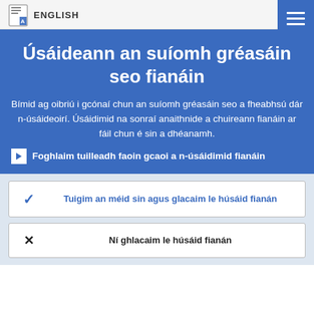ENGLISH
Úsáideann an suíomh gréasáin seo fianáin
Bímid ag oibriú i gcónaí chun an suíomh gréasáin seo a fheabhsú dár n-úsáideoirí. Úsáidimid na sonraí anaithnide a chuireann fianáin ar fáil chun é sin a dhéanamh.
Foghlaim tuilleadh faoin gcaoi a n-úsáidimid fianáin
Tuigim an méid sin agus glacaim le húsáid fianán
Ní ghlacaim le húsáid fianán